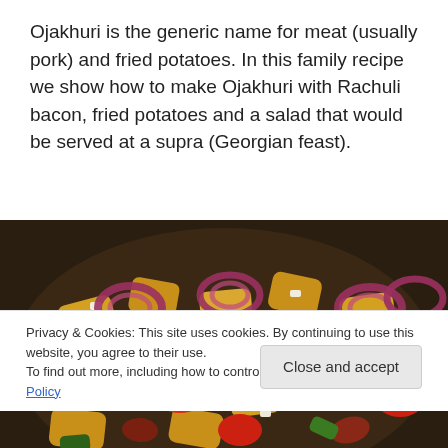Ojakhuri is the generic name for meat (usually pork) and fried potatoes. In this family recipe we show how to make Ojakhuri with Rachuli bacon, fried potatoes and a salad that would be served at a supra (Georgian feast).
[Figure (photo): A cast iron pan filled with fried potatoes, chunks of meat/sausage, chopped peppers, tomatoes, crumbled white cheese, and sliced red onion rings arranged on top.]
Privacy & Cookies: This site uses cookies. By continuing to use this website, you agree to their use.
To find out more, including how to control cookies, see here: Cookie Policy
Close and accept